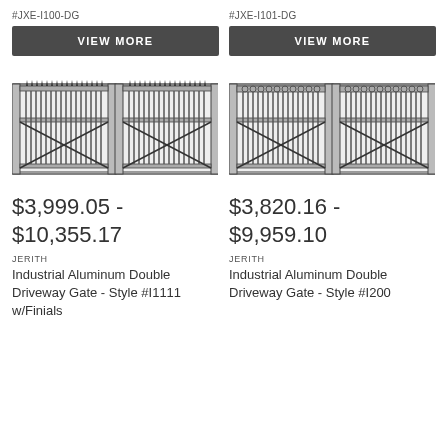#JXE-I100-DG
#JXE-I101-DG
VIEW MORE
VIEW MORE
[Figure (illustration): Double driveway gate with vertical pickets, X-brace pattern and spear finials on top - Style I1111]
[Figure (illustration): Double driveway gate with vertical pickets, X-brace pattern and decorative circles on top rail - Style I200]
$3,999.05 - $10,355.17
$3,820.16 - $9,959.10
JERITH
Industrial Aluminum Double Driveway Gate - Style #I1111 w/Finials
JERITH
Industrial Aluminum Double Driveway Gate - Style #I200